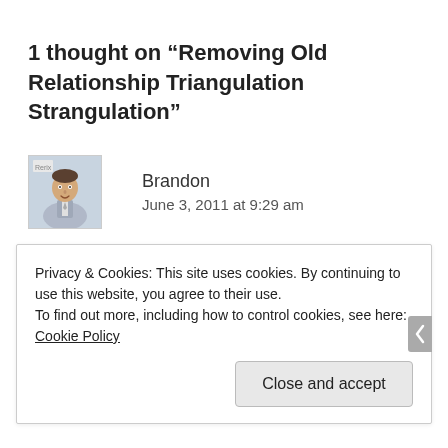1 thought on “Removing Old Relationship Triangulation Strangulation”
[Figure (photo): Avatar photo of Brandon, a man in a suit]
Brandon
June 3, 2011 at 9:29 am
AAAAAAAAAAAMAZING! Spot on and thanks for sharing with us!!!
Privacy & Cookies: This site uses cookies. By continuing to use this website, you agree to their use.
To find out more, including how to control cookies, see here: Cookie Policy